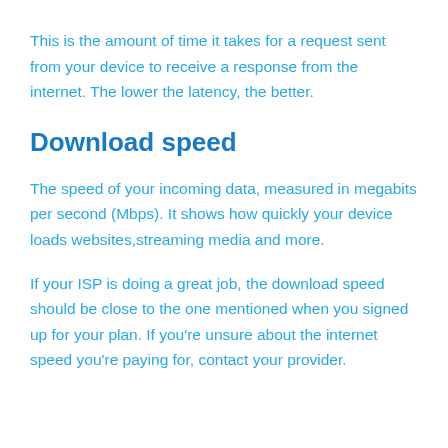This is the amount of time it takes for a request sent from your device to receive a response from the internet. The lower the latency, the better.
Download speed
The speed of your incoming data, measured in megabits per second (Mbps). It shows how quickly your device loads websites,streaming media and more.
If your ISP is doing a great job, the download speed should be close to the one mentioned when you signed up for your plan. If you're unsure about the internet speed you're paying for, contact your provider.